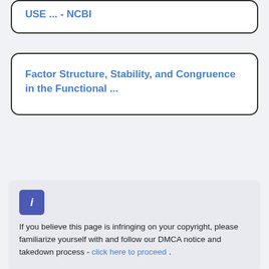USE ... - NCBI
Factor Structure, Stability, and Congruence in the Functional ...
If you believe this page is infringing on your copyright, please familiarize yourself with and follow our DMCA notice and takedown process - click here to proceed .